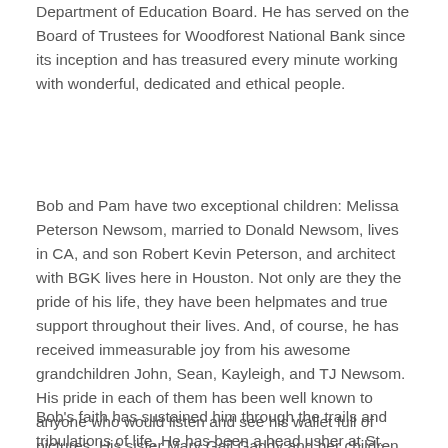Department of Education Board. He has served on the Board of Trustees for Woodforest National Bank since its inception and has treasured every minute working with wonderful, dedicated and ethical people.
Bob and Pam have two exceptional children: Melissa Peterson Newsom, married to Donald Newsom, lives in CA, and son Robert Kevin Peterson, and architect with BGK lives here in Houston. Not only are they the pride of his life, they have been helpmates and true support throughout their lives. And, of course, he has received immeasurable joy from his awesome grandchildren John, Sean, Kayleigh, and TJ Newsom. His pride in each of them has been well known to anyone who would listen and see his wallet full of pictures. His sister Mary Gail Gaddy and her children, Cheree and Hugh, their spouses and children are also great sources of pride for Bob.
Bob's faith has sustained him through the trails and tribulations of life. He has been a head usher at St. Martin's